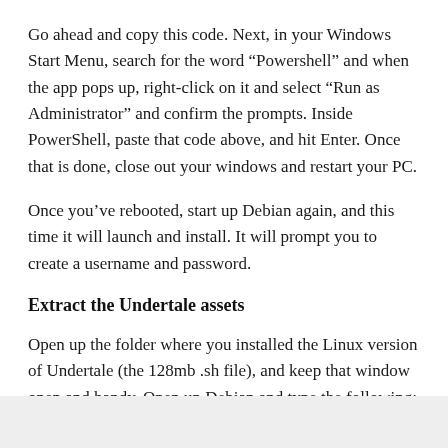Go ahead and copy this code. Next, in your Windows Start Menu, search for the word “Powershell” and when the app pops up, right-click on it and select “Run as Administrator” and confirm the prompts. Inside PowerShell, paste that code above, and hit Enter. Once that is done, close out your windows and restart your PC.
Once you’ve rebooted, start up Debian again, and this time it will launch and install. It will prompt you to create a username and password.
Extract the Undertale assets
Open up the folder where you installed the Linux version of Undertale (the 128mb .sh file), and keep that window open and handy. Open up Debian and type the following:
[Figure (screenshot): Light gray code block area at the bottom of the page]